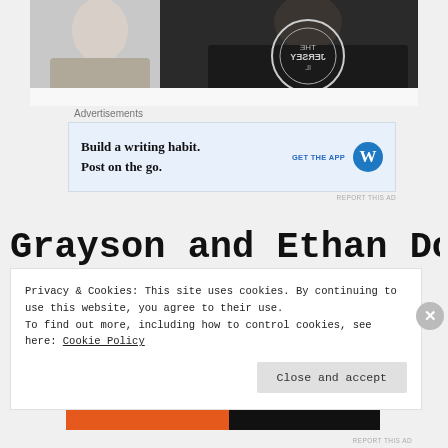[Figure (photo): Cropped photo of two people, one wearing a dark hoodie with circular graphic text, partially visible]
Advertisements
[Figure (screenshot): WordPress app advertisement: 'Build a writing habit. Post on the go.' with GET THE APP call to action and WordPress logo]
REPORT THIS AD
Grayson and Ethan Dolan
Privacy & Cookies: This site uses cookies. By continuing to use this website, you agree to their use.
To find out more, including how to control cookies, see here: Cookie Policy
Close and accept